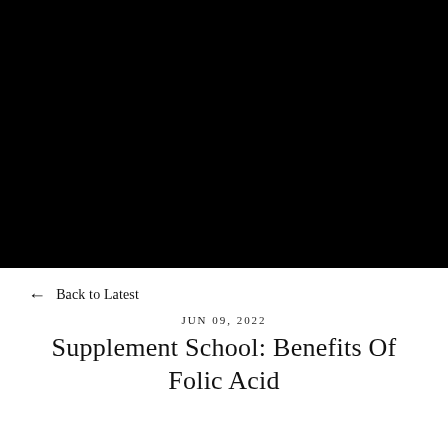[Figure (photo): Full-width black image occupying the top portion of the page]
← Back to Latest
JUN 09, 2022
Supplement School: Benefits Of Folic Acid